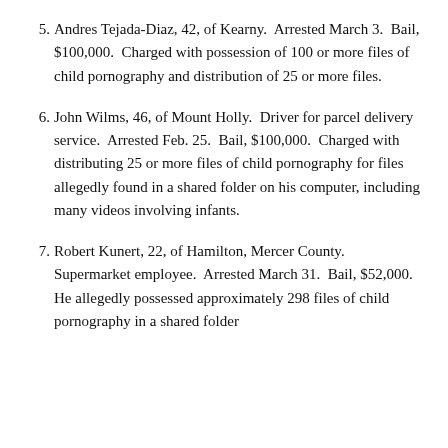5. Andres Tejada-Diaz, 42, of Kearny. Arrested March 3. Bail, $100,000. Charged with possession of 100 or more files of child pornography and distribution of 25 or more files.
6. John Wilms, 46, of Mount Holly. Driver for parcel delivery service. Arrested Feb. 25. Bail, $100,000. Charged with distributing 25 or more files of child pornography for files allegedly found in a shared folder on his computer, including many videos involving infants.
7. Robert Kunert, 22, of Hamilton, Mercer County. Supermarket employee. Arrested March 31. Bail, $52,000. He allegedly possessed approximately 298 files of child pornography in a shared folder